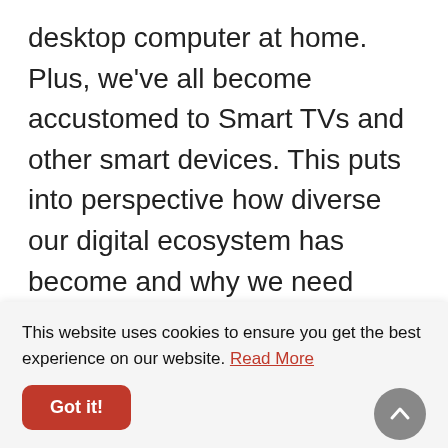desktop computer at home. Plus, we've all become accustomed to Smart TVs and other smart devices. This puts into perspective how diverse our digital ecosystem has become and why we need VPNs with maximum compatibility across different platforms.

A VPN becomes even more crucial when you're working with sensitive
This website uses cookies to ensure you get the best experience on our website. Read More
Got it!